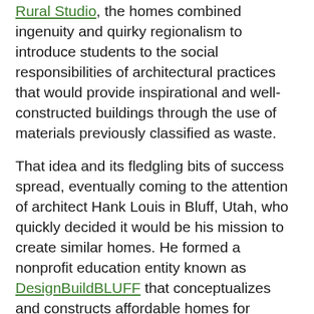Rural Studio, the homes combined ingenuity and quirky regionalism to introduce students to the social responsibilities of architectural practices that would provide inspirational and well-constructed buildings through the use of materials previously classified as waste.
That idea and its fledgling bits of success spread, eventually coming to the attention of architect Hank Louis in Bluff, Utah, who quickly decided it would be his mission to create similar homes. He formed a nonprofit education entity known as DesignBuildBLUFF that conceptualizes and constructs affordable homes for Navajo families currently living in substandard dwellings and harsh weather conditions—howling sub-zero temperatures in the winter, drenching rains in spring, sweltering temperatures in the summer.
The group's website says of its effort: “Compassion can be found in a CAD file” CAD means computer-aided design and notes that “more than 2.4 million Native Americans live on or